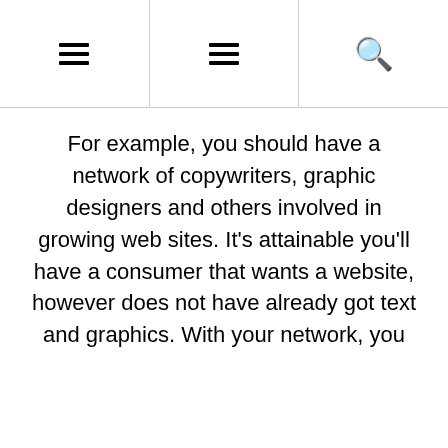≡  ≡  🔍
For example, you should have a network of copywriters, graphic designers and others involved in growing web sites. It's attainable you'll have a consumer that wants a website, however does not have already got text and graphics. With your network, you
Continue Reading >